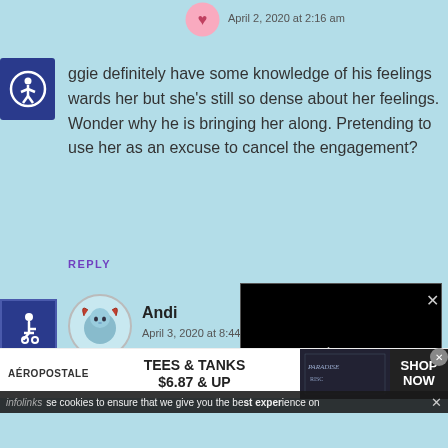[Figure (illustration): Small pink/heart avatar icon at top]
April 2, 2020 at 2:16 am
[Figure (logo): Accessibility icon (person in circle) on dark blue background, top left]
ggie definitely have some knowledge of his feelings wards her but she's still so dense about her feelings. Wonder why he is bringing her along. Pretending to use her as an excuse to cancel the engagement?
REPLY
[Figure (logo): Accessibility wheelchair icon on dark blue square, left side]
[Figure (illustration): Andi avatar - blue/teal character with horns]
Andi
April 3, 2020 at 8:44 am
[Figure (screenshot): Black video player overlay with loading circle and X close button]
infolinks se cookies to ensure that we give you the best experience on
[Figure (infographic): Aeropostale advertisement: TEES & TANKS $6.87 & UP with SHOP NOW CTA]